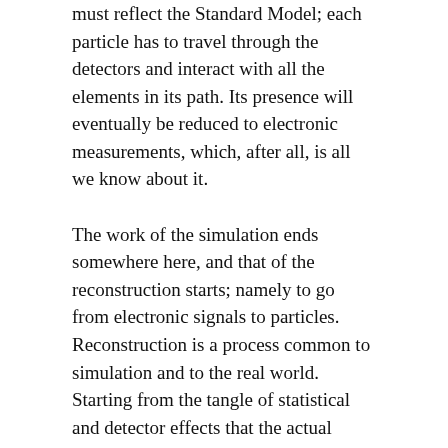must reflect the Standard Model; each particle has to travel through the detectors and interact with all the elements in its path. Its presence will eventually be reduced to electronic measurements, which, after all, is all we know about it.
The work of the simulation ends somewhere here, and that of the reconstruction starts; namely to go from electronic signals to particles. Reconstruction is a process common to simulation and to the real world. Starting from the tangle of statistical and detector effects that the actual measurements include, the goal is to divine the properties of the initial collision products.
Now, researchers at the Argonne National Laboratory looked into going from the simulated particles as produced in the collisions (aka “truth objects”) directly to the reconstructed ones (aka “reco objects”): bypassing the steps of the detailed interaction with the detectors